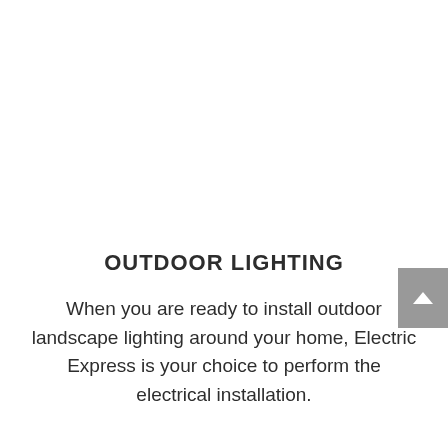OUTDOOR LIGHTING
When you are ready to install outdoor landscape lighting around your home, Electric Express is your choice to perform the electrical installation.